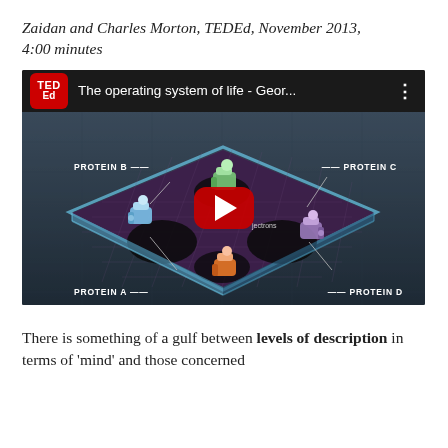Zaidan and Charles Morton, TEDEd, November 2013, 4:00 minutes
[Figure (screenshot): YouTube video thumbnail for 'The operating system of life - Geor...' from TED Ed, showing an animated isometric platform with four robot-like protein figures labeled PROTEIN A, PROTEIN B, PROTEIN C, and PROTEIN D at corners, with a large red YouTube play button in the center.]
There is something of a gulf between levels of description in terms of ‘mind’ and those concerned